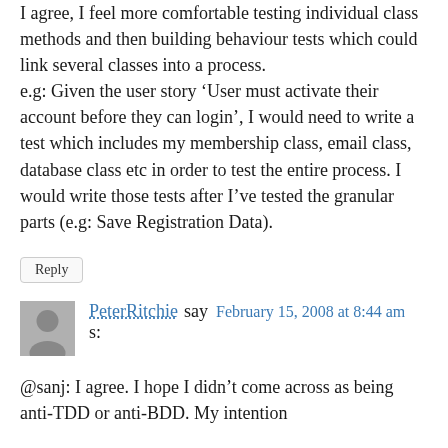I agree, I feel more comfortable testing individual class methods and then building behaviour tests which could link several classes into a process. e.g: Given the user story ‘User must activate their account before they can login’, I would need to write a test which includes my membership class, email class, database class etc in order to test the entire process. I would write those tests after I’ve tested the granular parts (e.g: Save Registration Data).
Reply
PeterRitchie says: February 15, 2008 at 8:44 am
@sanj: I agree. I hope I didn’t come across as being anti-TDD or anti-BDD. My intention